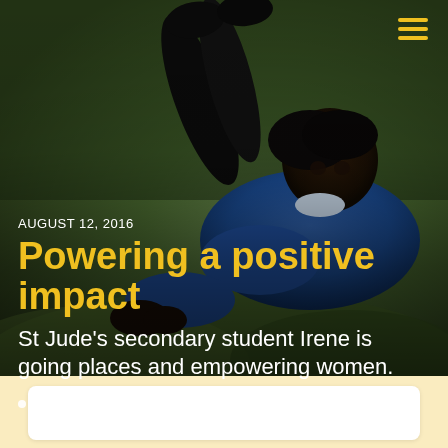[Figure (photo): A young African female student in a blue school uniform lying on grass, looking at the camera. The photo serves as the full background of the top portion of the page.]
AUGUST 12, 2016
Powering a positive impact
St Jude's secondary student Irene is going places and empowering women.